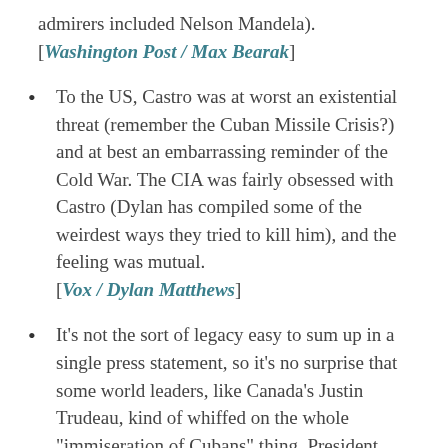admirers included Nelson Mandela). [Washington Post / Max Bearak]
To the US, Castro was at worst an existential threat (remember the Cuban Missile Crisis?) and at best an embarrassing reminder of the Cold War. The CIA was fairly obsessed with Castro (Dylan has compiled some of the weirdest ways they tried to kill him), and the feeling was mutual. [Vox / Dylan Matthews]
It's not the sort of legacy easy to sum up in a single press statement, so it's no surprise that some world leaders, like Canada's Justin Trudeau, kind of whiffed on the whole "immiseration of Cubans" thing. President Obama, for his part, openly punted on Castro's legacy by saying it would be judged by history;